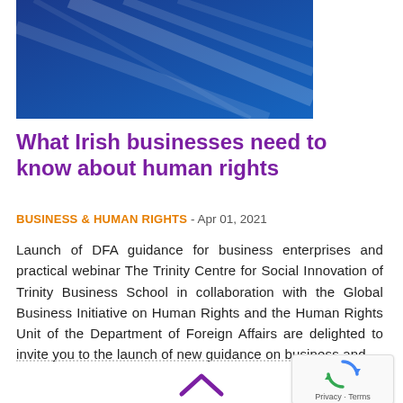[Figure (illustration): Blue decorative banner image with diagonal white/light blue geometric lines on a dark blue background]
What Irish businesses need to know about human rights
BUSINESS & HUMAN RIGHTS - Apr 01, 2021
Launch of DFA guidance for business enterprises and practical webinar The Trinity Centre for Social Innovation of Trinity Business School in collaboration with the Global Business Initiative on Human Rights and the Human Rights Unit of the Department of Foreign Affairs are delighted to invite you to the launch of new guidance on business and